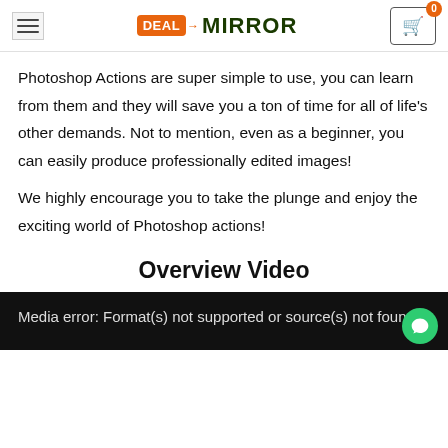Deal Mirror — hamburger menu and cart (0)
Photoshop Actions are super simple to use, you can learn from them and they will save you a ton of time for all of life's other demands. Not to mention, even as a beginner, you can easily produce professionally edited images!
We highly encourage you to take the plunge and enjoy the exciting world of Photoshop actions!
Overview Video
Media error: Format(s) not supported or source(s) not found